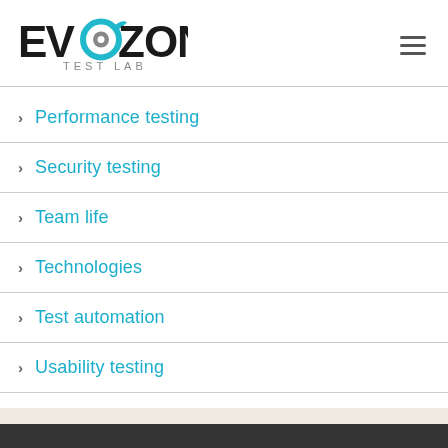[Figure (logo): Evozon Test Lab logo with teal circular target icon and bold black text 'EVOZON', subtitle 'TEST LAB' in gray]
Performance testing
Security testing
Team life
Technologies
Test automation
Usability testing